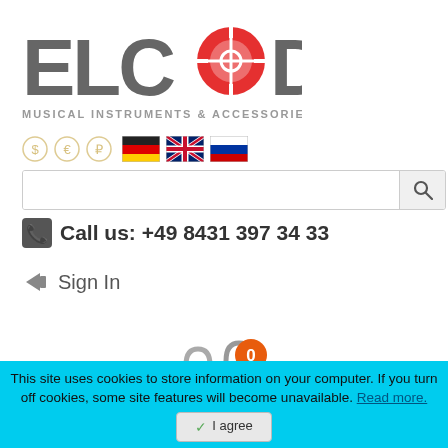[Figure (logo): ELCODA logo with crosshair in the 'O', subtitle MUSICAL INSTRUMENTS & ACCESSORIES]
[Figure (other): Currency selector icons (dollar, euro, ruble) and language flags (German, UK, Russian)]
[Figure (other): Search input bar with magnifying glass icon]
Call us: +49 8431 397 34 33
Sign In
[Figure (other): Shopping cart icon with badge showing 0 items]
[Figure (other): List view toggle button (dark background with lines icon)]
Home Page | Products | Sound Equipment | Microphones | I...
This site uses cookies to store information on your computer. If you turn off cookies, some site features will become unavailable. Read more.
I agree